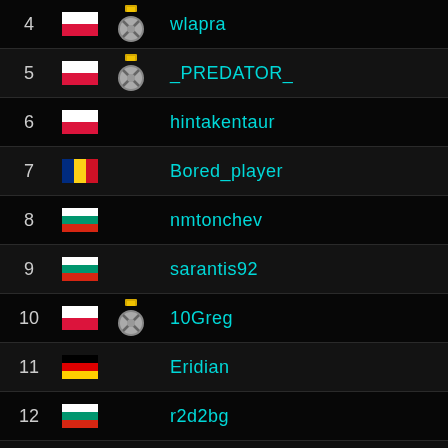4  wlapra
5  _PREDATOR_
6  hintakentaur
7  Bored_player
8  nmtonchev
9  sarantis92
10  10Greg
11  Eridian
12  r2d2bg